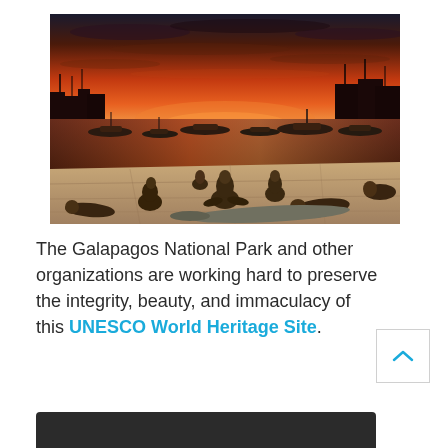[Figure (photo): Galapagos harbour at sunset with vivid red and orange sky. Sea lions rest on stone dock in foreground; boats moored in the water behind them.]
The Galapagos National Park and other organizations are working hard to preserve the integrity, beauty, and immaculacy of this UNESCO World Heritage Site.